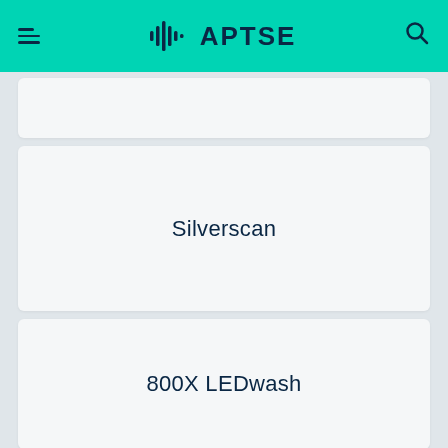APTSE
[Figure (other): Blank card (partial, top of page)]
Silverscan
800X LEDwash